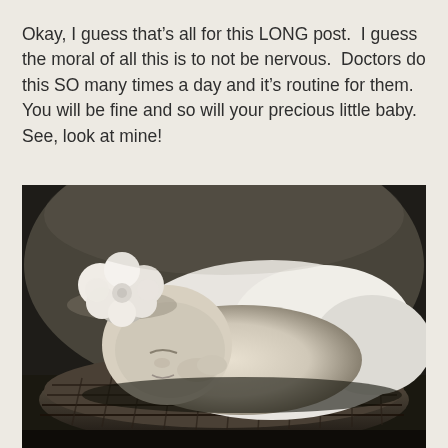Okay, I guess that's all for this LONG post.  I guess the moral of all this is to not be nervous.  Doctors do this SO many times a day and it's routine for them.  You will be fine and so will your precious little baby.  See, look at mine!
[Figure (photo): Black and white photograph of a sleeping newborn baby wearing a large white flower headband, nestled in fluffy white fabric, lying in a woven basket on grass.]